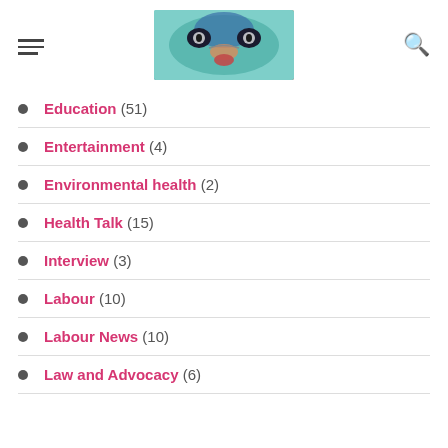Navigation header with menu icon, logo image, and search icon
Education (51)
Entertainment (4)
Environmental health (2)
Health Talk (15)
Interview (3)
Labour (10)
Labour News (10)
Law and Advocacy (6)